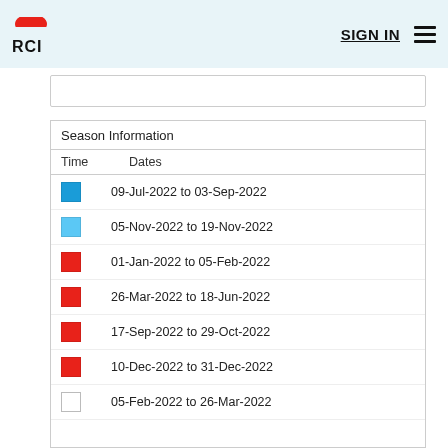RCI SIGN IN
| Time | Dates |
| --- | --- |
| blue | 09-Jul-2022 to 03-Sep-2022 |
| light-blue | 05-Nov-2022 to 19-Nov-2022 |
| red | 01-Jan-2022 to 05-Feb-2022 |
| red | 26-Mar-2022 to 18-Jun-2022 |
| red | 17-Sep-2022 to 29-Oct-2022 |
| red | 10-Dec-2022 to 31-Dec-2022 |
| white | 05-Feb-2022 to 26-Mar-2022 |